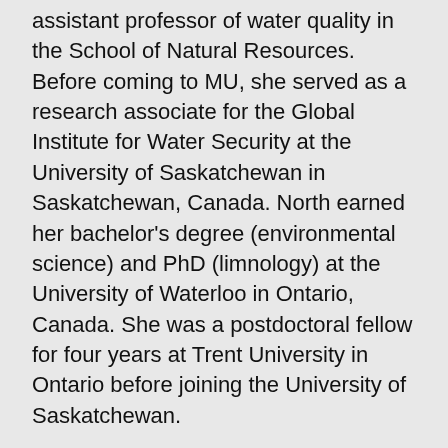assistant professor of water quality in the School of Natural Resources. Before coming to MU, she served as a research associate for the Global Institute for Water Security at the University of Saskatchewan in Saskatchewan, Canada. North earned her bachelor's degree (environmental science) and PhD (limnology) at the University of Waterloo in Ontario, Canada. She was a postdoctoral fellow for four years at Trent University in Ontario before joining the University of Saskatchewan.
North teaches a handful of courses related to water quality, natural resource management and limnology (the study of inland aquatic ecosystems). Her teaching philosophy is focused on fostering learning environments that are sustainable, motivating and application-based. North has been a faculty mentor with the MU Preparing Future Faculty Postdoctoral